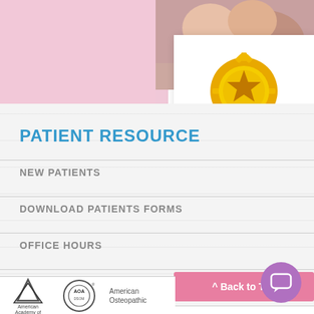[Figure (photo): Doctor examining a newborn baby, hands visible, close-up shot with pink background]
[Figure (illustration): Gold medal/award badge with a star in the center and blue ribbon below, with text 'Top Doctor 2022' in blue]
PATIENT RESOURCE
NEW PATIENTS
DOWNLOAD PATIENTS FORMS
OFFICE HOURS
[Figure (logo): Back to Top button - pink button with text '^ Back to Top']
[Figure (logo): Chat bubble icon - purple circle with chat icon]
[Figure (logo): American Academy of (logo with mountain/peak icon)]
[Figure (logo): AOA / AODSO circular seal logo]
American Osteopathic